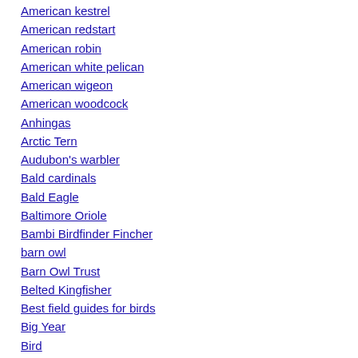American kestrel
American redstart
American robin
American white pelican
American wigeon
American woodcock
Anhingas
Arctic Tern
Audubon's warbler
Bald cardinals
Bald Eagle
Baltimore Oriole
Bambi Birdfinder Fincher
barn owl
Barn Owl Trust
Belted Kingfisher
Best field guides for birds
Big Year
Bird